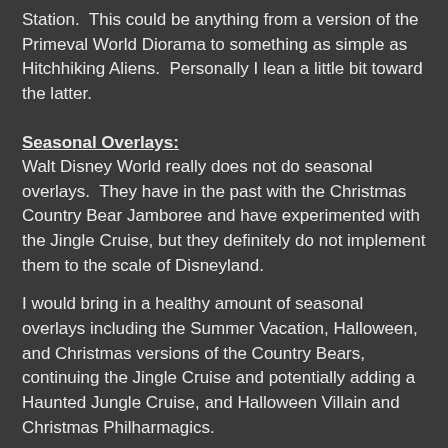Station.  This could be anything from a version of the Primeval World Diorama to something as simple as Hitchhiking Aliens.  Personally I lean a little bit toward the latter.
Seasonal Overlays:
Walt Disney World really does not do seasonal overlays.  They have in the past with the Christmas Country Bear Jamboree and have experimented with the Jingle Cruise, but they definitely do not implement them to the scale of Disneyland.
I would bring in a healthy amount of seasonal overlays including the Summer Vacation, Halloween, and Christmas versions of the Country Bears, continuing the Jingle Cruise and potentially adding a Haunted Jungle Cruise, and Halloween Villain and Christmas Philharmagics.
Parades and Nighttime Spectaculars:
I would like to see more experimentation with the parades a